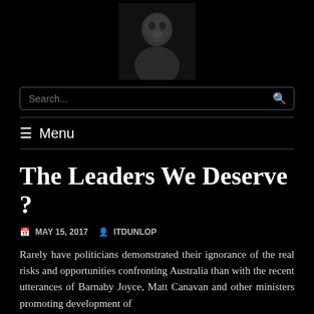[Figure (photo): Headshot photo of a man against dark background, centered at top of page]
The Leaders We Deserve ?
MAY 15, 2017  ITDUNLOP
Rarely have politicians demonstrated their ignorance of the real risks and opportunities confronting Australia than with the recent utterances of Barnaby Joyce, Matt Canavan and other ministers promoting development of